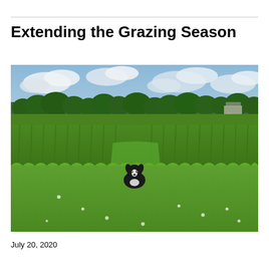Extending the Grazing Season
[Figure (photo): A black and white dog standing in a large green field with lush grass and clover in the foreground, tall corn crops in the mid-ground, and a treeline under a partly cloudy sky in the background.]
July 20, 2020